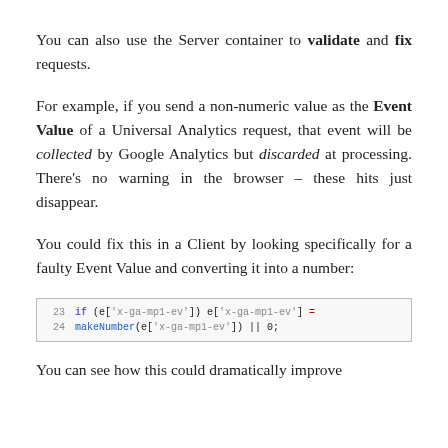You can also use the Server container to validate and fix requests.
For example, if you send a non-numeric value as the Event Value of a Universal Analytics request, that event will be collected by Google Analytics but discarded at processing. There’s no warning in the browser – these hits just disappear.
You could fix this in a Client by looking specifically for a faulty Event Value and converting it into a number:
[Figure (screenshot): Code snippet showing line 23: if (e['x-ga-mp1-ev']) e['x-ga-mp1-ev'] = makeNumber(e['x-ga-mp1-ev']) || 0;]
You can see how this could dramatically improve